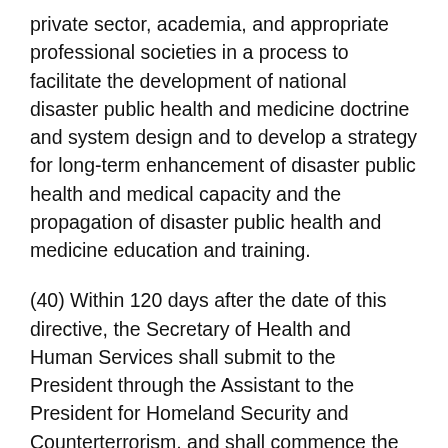private sector, academia, and appropriate professional societies in a process to facilitate the development of national disaster public health and medicine doctrine and system design and to develop a strategy for long-term enhancement of disaster public health and medical capacity and the propagation of disaster public health and medicine education and training.
(40) Within 120 days after the date of this directive, the Secretary of Health and Human Services shall submit to the President through the Assistant to the President for Homeland Security and Counterterrorism, and shall commence the implementation of, a plan to use current grant funding programs, private payer incentives, market forces, Center for Medicare and Medicaid Services requirements, and other means to create financial incentives to encourage private health care facility...